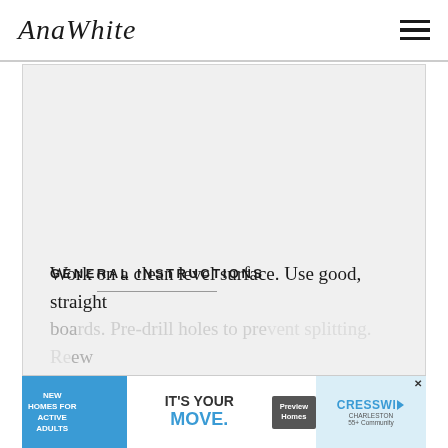AnaWhite [logo] [hamburger menu]
[Figure (other): Large light grey rectangular content area placeholder]
GENERAL INSTRUCTIONS
Work on a clean level surface. Use good, straight boards. Pre-drill holes to prevent splitting. Review all instructions before beginning and check for errors.